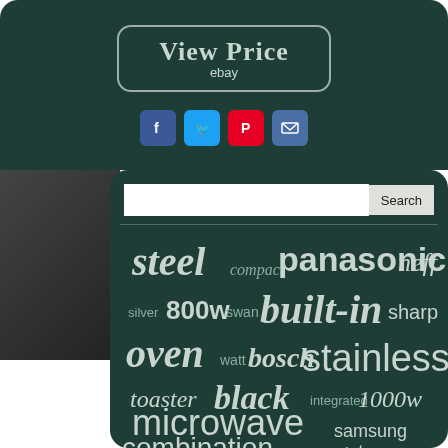[Figure (screenshot): View Price button with ebay text on dark teal background]
[Figure (infographic): Social media share icons: Facebook, Twitter, Pinterest, Email]
[Figure (screenshot): Search input bar with Search button on dark teal background]
[Figure (infographic): Word cloud with appliance-related keywords: steel, compact, panasonic, neff, silver, 800w, swan, built-in, sharp, oven, watt, bosch, stainless, toaster, black, integrated, 1000w, microwave, samsung, combination, solo, tower]